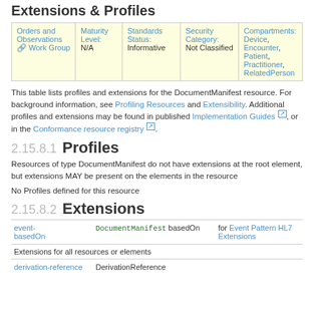Extensions & Profiles
| Orders and Observations Work Group | Maturity Level: N/A | Standards Status: Informative | Security Category: Not Classified | Compartments: Device, Encounter, Patient, Practitioner, RelatedPerson |
| --- | --- | --- | --- | --- |
This table lists profiles and extensions for the DocumentManifest resource. For background information, see Profiling Resources and Extensibility. Additional profiles and extensions may be found in published Implementation Guides, or in the Conformance resource registry.
2.15.8.1 Profiles
Resources of type DocumentManifest do not have extensions at the root element, but extensions MAY be present on the elements in the resource
No Profiles defined for this resource
2.15.8.2 Extensions
|  |  |  |
| --- | --- | --- |
| event-basedOn | DocumentManifest basedOn | for Event Pattern HL7 Extensions |
| Extensions for all resources or elements |  |  |
| derivation-reference | DerivationReference |  |